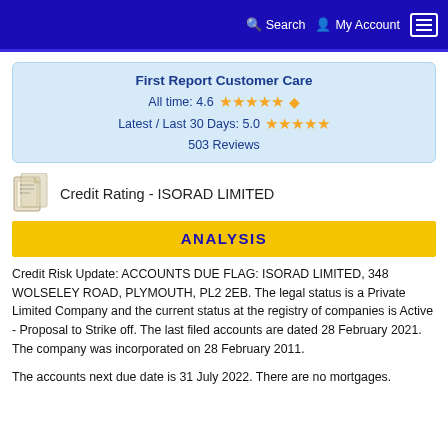Search  My Account
[Figure (infographic): Customer care rating box showing: First Report Customer Care, All time: 4.6 stars (4.6 out of 5), Latest / Last 30 Days: 5.0 stars (5 out of 5), 503 Reviews]
Credit Rating - ISORAD LIMITED
ANALYSIS
Credit Risk Update: ACCOUNTS DUE FLAG: ISORAD LIMITED, 348 WOLSELEY ROAD, PLYMOUTH, PL2 2EB. The legal status is a Private Limited Company and the current status at the registry of companies is Active - Proposal to Strike off. The last filed accounts are dated 28 February 2021. The company was incorporated on 28 February 2011.
The accounts next due date is 31 July 2022. There are no mortgages.